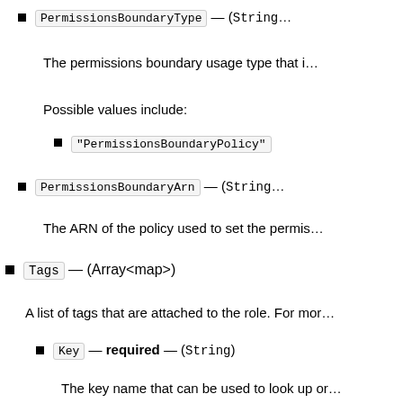PermissionsBoundaryType — (String)
The permissions boundary usage type that i…
Possible values include:
"PermissionsBoundaryPolicy"
PermissionsBoundaryArn — (String)
The ARN of the policy used to set the permis…
Tags — (Array<map>)
A list of tags that are attached to the role. For mor…
Key — required — (String)
The key name that can be used to look up or…
Value — required — (String)
The value associated with this tag. For exam… with the different cost centers in your compa…